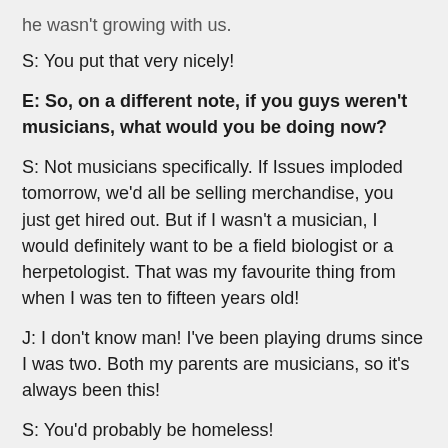he wasn't growing with us.
S: You put that very nicely!
E: So, on a different note, if you guys weren't musicians, what would you be doing now?
S: Not musicians specifically. If Issues imploded tomorrow, we'd all be selling merchandise, you just get hired out. But if I wasn't a musician, I would definitely want to be a field biologist or a herpetologist. That was my favourite thing from when I was ten to fifteen years old!
J: I don't know man! I've been playing drums since I was two. Both my parents are musicians, so it's always been this!
S: You'd probably be homeless!